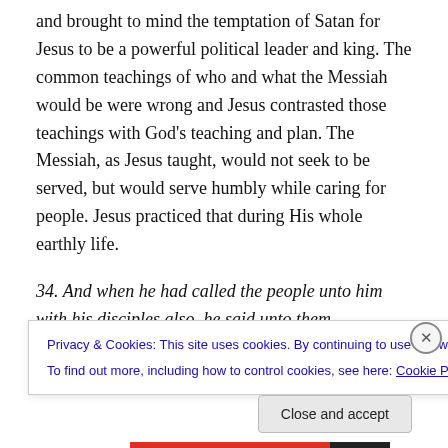some sense into Jesus, so to speak, Jesus rebuked him and brought to mind the temptation of Satan for Jesus to be a powerful political leader and king. The common teachings of who and what the Messiah would be were wrong and Jesus contrasted those teachings with God's teaching and plan. The Messiah, as Jesus taught, would not seek to be served, but would serve humbly while caring for people. Jesus practiced that during His whole earthly life.
34. And when he had called the people unto him with his disciples also, he said unto them, Whosoever will come
Privacy & Cookies: This site uses cookies. By continuing to use this website, you agree to their use.
To find out more, including how to control cookies, see here: Cookie Policy
Close and accept